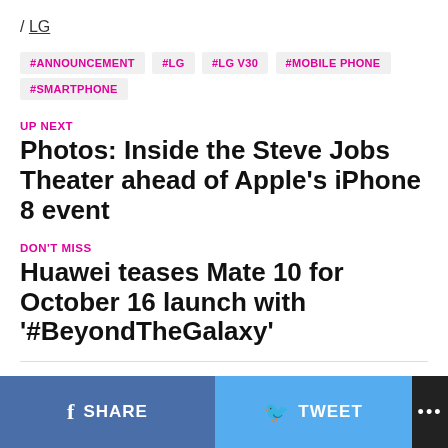/ LG
#ANNOUNCEMENT #LG #LG V30 #MOBILE PHONE #SMARTPHONE
UP NEXT
Photos: Inside the Steve Jobs Theater ahead of Apple's iPhone 8 event
DON'T MISS
Huawei teases Mate 10 for October 16 launch with '#BeyondTheGalaxy'
CLICK TO COMMENT
SHARE   TWEET   ...